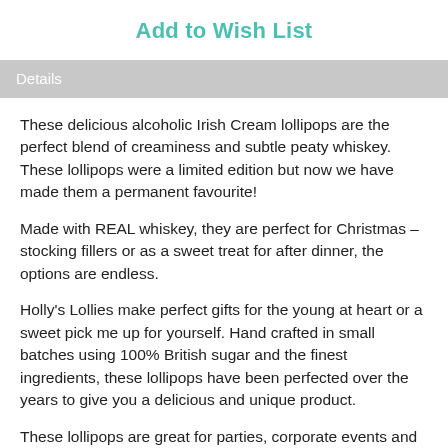Add to Wish List
Details
These delicious alcoholic Irish Cream lollipops are the perfect blend of creaminess and subtle peaty whiskey. These lollipops were a limited edition but now we have made them a permanent favourite!
Made with REAL whiskey, they are perfect for Christmas – stocking fillers or as a sweet treat for after dinner, the options are endless.
Holly's Lollies make perfect gifts for the young at heart or a sweet pick me up for yourself. Hand crafted in small batches using 100% British sugar and the finest ingredients, these lollipops have been perfected over the years to give you a delicious and unique product.
These lollipops are great for parties, corporate events and as individual wedding favours, that everyone will love.
You will receive 5 alcoholic Irish cream lollipops packaged